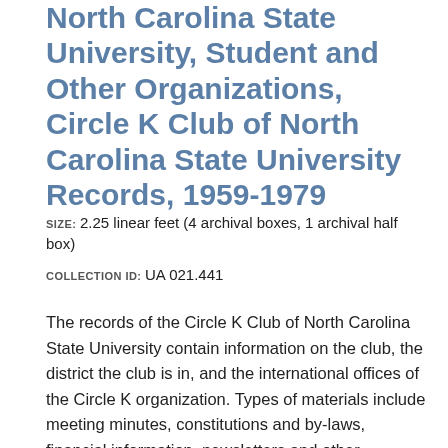North Carolina State University, Student and Other Organizations, Circle K Club of North Carolina State University Records, 1959-1979
SIZE: 2.25 linear feet (4 archival boxes, 1 archival half box)
COLLECTION ID: UA 021.441
The records of the Circle K Club of North Carolina State University contain information on the club, the district the club is in, and the international offices of the Circle K organization. Types of materials include meeting minutes, constitutions and by-laws, financial information, newsletters and other publications, information ... MORE